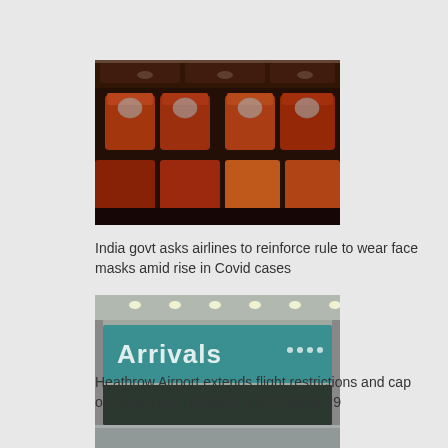[Figure (photo): Interior of an airplane cabin showing rows of red/orange seats with passengers wearing face shields, view from the back looking forward]
India govt asks airlines to reinforce rule to wear face masks amid rise in Covid cases
[Figure (photo): Airport arrivals hall with large illuminated 'Arrivals' sign on a teal/green background wall, empty terminal floor]
Heathrow Airport extends flight restrictions and cap on passenger numbers until October 29